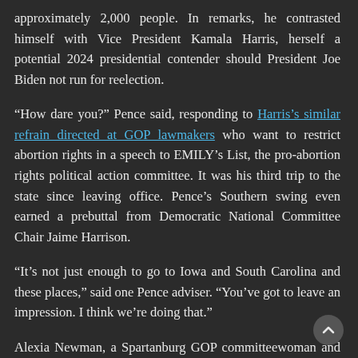approximately 2,000 people. In remarks, he contrasted himself with Vice President Kamala Harris, herself a potential 2024 presidential contender should President Joe Biden not run for reelection.
“How dare you?” Pence said, responding to Harris’s similar refrain directed at GOP lawmakers who want to restrict abortion rights in a speech to EMILY’s List, the pro-abortion rights political action committee. It was his third trip to the state since leaving office. Pence’s Southern swing even earned a prebuttal from Democratic National Committee Chair Jaime Harrison.
“It’s not just enough to go to Iowa and South Carolina and these places,” said one Pence adviser. “You’ve got to leave an impression. I think we’re doing that.”
Alexia Newman, a Spartanburg GOP committeewoman and the Carolina Pregnancy Center director, said Pence received a rock star reception.